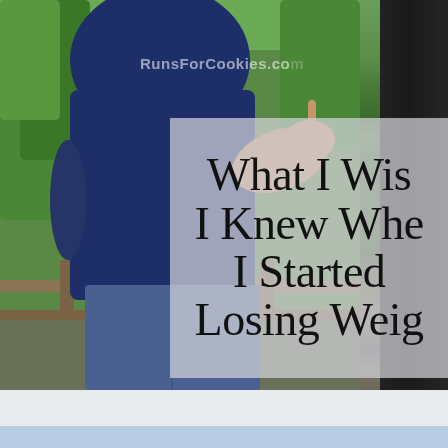[Figure (photo): Outdoor photo of a person wearing a navy blue t-shirt and jeans, standing near a railing with green trees in the background. Watermark 'RunsForCookies.com' visible in the upper center. A semi-transparent gray overlay box in the lower-right area contains the article title text.]
What I Wish I Knew When I Started Losing Weight